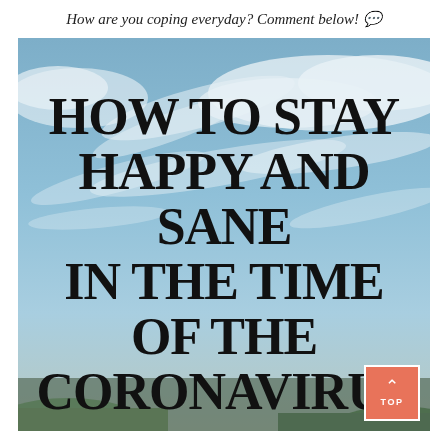How are you coping everyday? Comment below! 💬
[Figure (photo): Sky with clouds background image overlaid with bold uppercase text reading 'HOW TO STAY HAPPY AND SANE IN THE TIME OF THE CORONAVIRUS' and a salmon-colored 'TOP' navigation button in the bottom-right corner.]